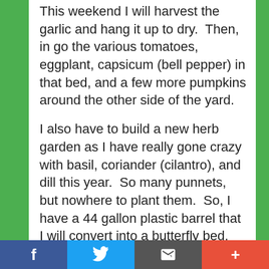This weekend I will harvest the garlic and hang it up to dry.  Then, in go the various tomatoes, eggplant, capsicum (bell pepper) in that bed, and a few more pumpkins around the other side of the yard.
I also have to build a new herb garden as I have really gone crazy with basil, coriander (cilantro), and dill this year.  So many punnets, but nowhere to plant them.  So, I have a 44 gallon plastic barrel that I will convert into a butterfly bed.  Plans and pictures will be posted once I figure it all out, I promise.
Somewhere over the weekend, I also have
Facebook | Twitter | Email | +